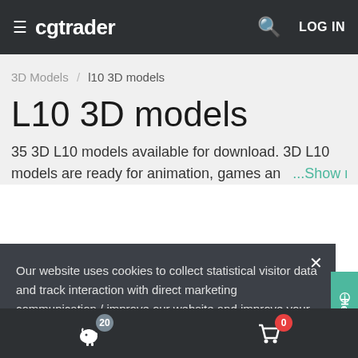≡ cgtrader  🔍  LOG IN
3D Models / l10 3D models
L10 3D models
35 3D L10 models available for download. 3D L10 models are ready for animation, games and ...Show more
Our website uses cookies to collect statistical visitor data and track interaction with direct marketing communication / improve our website and improve your browsing experience. Please see our Cookie Notice for more information about cookies, data they collect, who may access them, and your rights. Learn more
Accept
20  [piggy bank icon]  0  [cart icon]